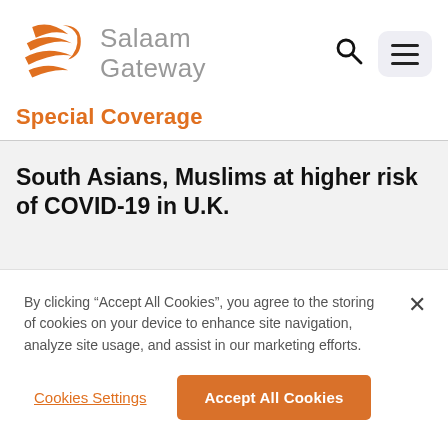[Figure (logo): Salaam Gateway logo with orange wave/bird icon and grey text 'Salaam Gateway']
Special Coverage
South Asians, Muslims at higher risk of COVID-19 in U.K.
By clicking “Accept All Cookies”, you agree to the storing of cookies on your device to enhance site navigation, analyze site usage, and assist in our marketing efforts.
Cookies Settings
Accept All Cookies